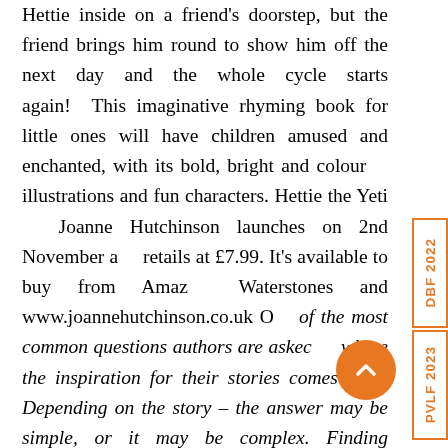Hettie inside on a friend's doorstep, but the friend brings him round to show him off the next day and the whole cycle starts again! This imaginative rhyming book for little ones will have children amused and enchanted, with its bold, bright and colourful illustrations and fun characters. Hettie the Yeti by Joanne Hutchinson launches on 2nd November and retails at £7.99. It's available to buy from Amazon, Waterstones and www.joannehutchinson.co.uk One of the most common questions authors are asked is where the inspiration for their stories comes from. Depending on the story – the answer may be simple, or it may be complex. Finding inspiration can be as simple as observing the world from your front window or it may be as complex as digging deep into your